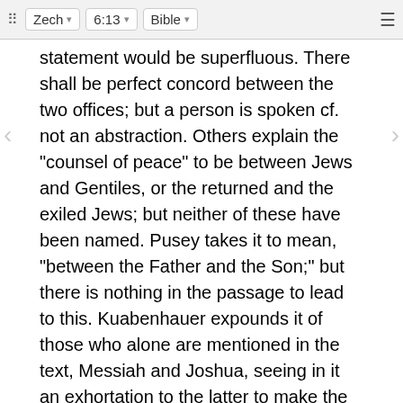Zech  6:13  Bible
statement would be superfluous. There shall be perfect concord between the two offices; but a person is spoken cf. not an abstraction. Others explain the "counsel of peace" to be between Jews and Gentiles, or the returned and the exiled Jews; but neither of these have been named. Pusey takes it to mean, "between the Father and the Son;" but there is nothing in the passage to lead to this. Kuabenhauer expounds it of those who alone are mentioned in the text, Messiah and Joshua, seeing in it an exhortation to the latter to make the type correspond to the Antitype, so that all may see that there is perfect harmony between them.
Parallel Commentaries ...
Heb
Yes.
[Figure (screenshot): Ad banner showing two blue figures with 'Hold and Move' text, with help and close buttons in top right corner.]